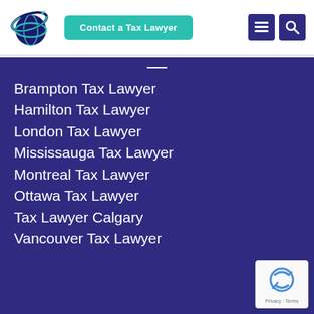[Figure (logo): Globe with orbiting arrow logo for a tax law firm, dark blue and teal colors]
Contact a Tax Lawyer
Brampton Tax Lawyer
Hamilton Tax Lawyer
London Tax Lawyer
Mississauga Tax Lawyer
Montreal Tax Lawyer
Ottawa Tax Lawyer
Tax Lawyer Calgary
Vancouver Tax Lawyer
[Figure (logo): Google reCAPTCHA badge with Privacy and Terms links]